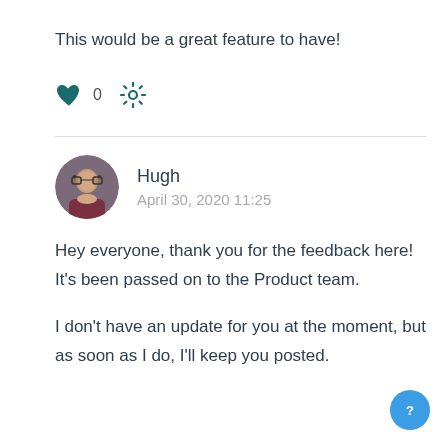This would be a great feature to have!
[Figure (infographic): Heart icon (teal/dark green filled) with count 0 and a gear/settings icon to the right]
Hugh
April 30, 2020 11:25
Hey everyone, thank you for the feedback here! It's been passed on to the Product team.
I don't have an update for you at the moment, but as soon as I do, I'll keep you posted.